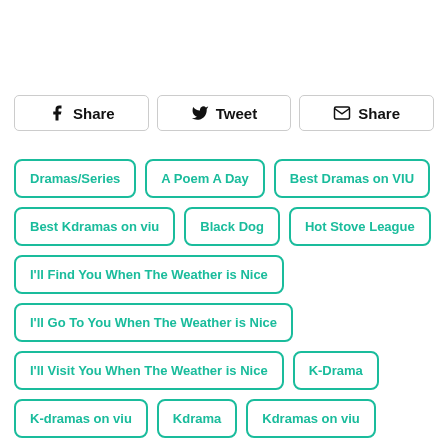Share | Tweet | Share
Dramas/Series
A Poem A Day
Best Dramas on VIU
Best Kdramas on viu
Black Dog
Hot Stove League
I'll Find You When The Weather is Nice
I'll Go To You When The Weather is Nice
I'll Visit You When The Weather is Nice
K-Drama
K-dramas on viu
Kdrama
Kdramas on viu